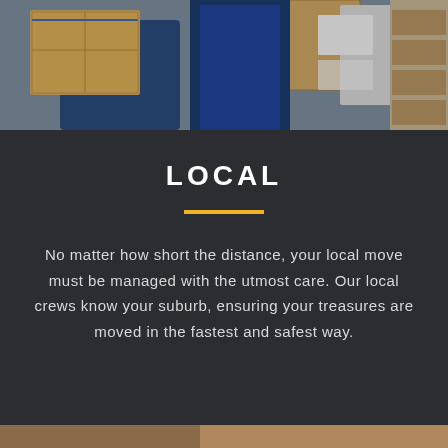[Figure (photo): Workers in blue uniforms handling cardboard moving boxes in a warehouse or moving truck setting.]
LOCAL
No matter how short the distance, your local move must be managed with the utmost care. Our local crews know your suburb, ensuring your treasures are moved in the fastest and safest way.
[Figure (photo): Two workers in red aprons and work gloves handling a cardboard box with a barcode label in a warehouse.]